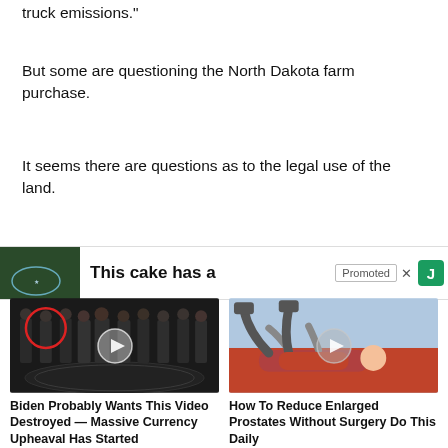truck emissions."
But some are questioning the North Dakota farm purchase.
It seems there are questions as to the legal use of the land.
[Figure (screenshot): Promoted ad bar showing partial image of a plate/seal on dark background, text 'This cake has a', Promoted label with X close button, and green J icon]
[Figure (screenshot): Sponsored content thumbnail: group of men in suits at CIA logo floor, one circled in red, with play button overlay. Title: Biden Probably Wants This Video Destroyed — Massive Currency Upheaval Has Started. Count: 251,274]
[Figure (screenshot): Sponsored content thumbnail: cartoon/illustration of person stretching with play button overlay. Title: How To Reduce Enlarged Prostates Without Surgery Do This Daily. Count: 3,686]